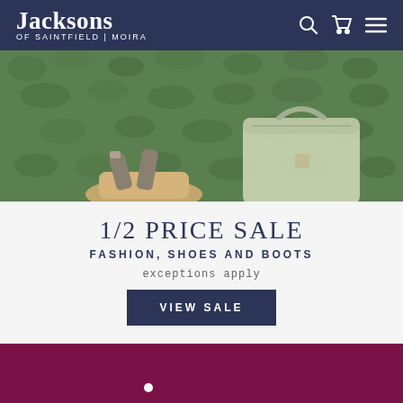Jacksons OF SAINTFIELD | MOIRA
[Figure (photo): Overhead photo of tan wedge sandals and a light green handbag on a green leafy hedge background]
1/2 PRICE SALE
FASHION, SHOES AND BOOTS
exceptions apply
VIEW SALE
[Figure (photo): Bottom portion showing a dark magenta/burgundy banner with a white dot indicator at the bottom center]